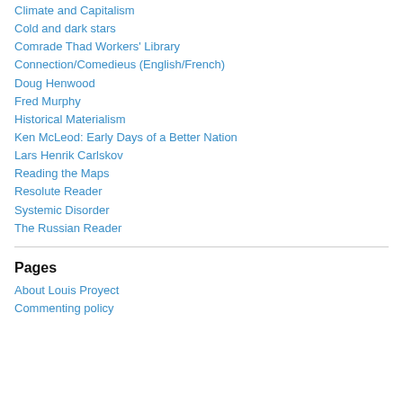Climate and Capitalism
Cold and dark stars
Comrade Thad Workers' Library
Connection/Comedieus (English/French)
Doug Henwood
Fred Murphy
Historical Materialism
Ken McLeod: Early Days of a Better Nation
Lars Henrik Carlskov
Reading the Maps
Resolute Reader
Systemic Disorder
The Russian Reader
Pages
About Louis Proyect
Commenting policy